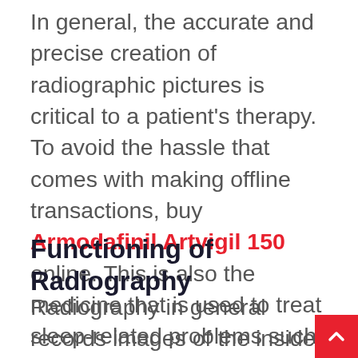In general, the accurate and precise creation of radiographic pictures is critical to a patient's therapy. To avoid the hassle that comes with making offline transactions, buy Armodafinil Artvigil 150 online. This is also the medicine that is used to treat sleep-related problems such as narcolepsy, sleep apnea, insomnia, and a range of other shift-work difficulties.
Functioning of Radiography
Radiography in general records images of the inside structure of the body to assess the presence or absence of disease, and